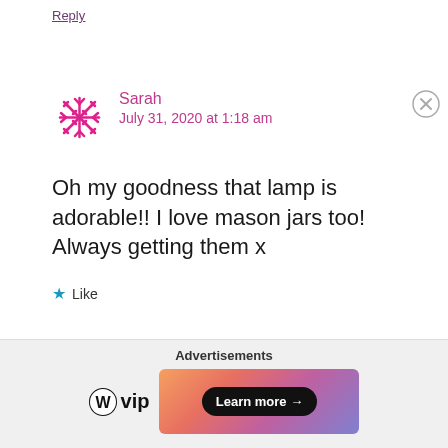Reply
Sarah
July 31, 2020 at 1:18 am
Oh my goodness that lamp is adorable!! I love mason jars too! Always getting them x
★ Like
Reply
Advertisements
WPvip  Learn more →